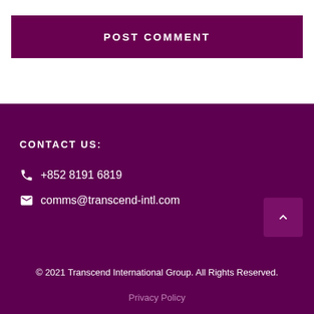POST COMMENT
CONTACT US:
+852 8191 6819
comms@transcend-intl.com
© 2021 Transcend International Group. All Rights Reserved.
Privacy Policy